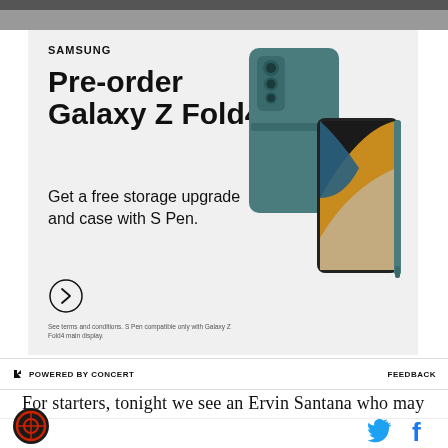[Figure (photo): Partial dark background photo at top of page]
[Figure (photo): Samsung Galaxy Z Fold4 advertisement banner. White/light gray background with Samsung branding. Shows Samsung Galaxy Z Fold4 phone in teal/green color with S Pen case. Text: SAMSUNG, Pre-order Galaxy Z Fold4, Get a free storage upgrade and case with S Pen. Arrow button circle. Fine print: See terms and conditions. S Pen compatible only with Galaxy Z Fold4 main display.]
POWERED BY CONCERT    FEEDBACK
For starters, tonight we see an Ervin Santana who may
[Figure (logo): Circular site logo with red/orange and black design]
[Figure (logo): Twitter bird icon in blue and Facebook f icon in blue]